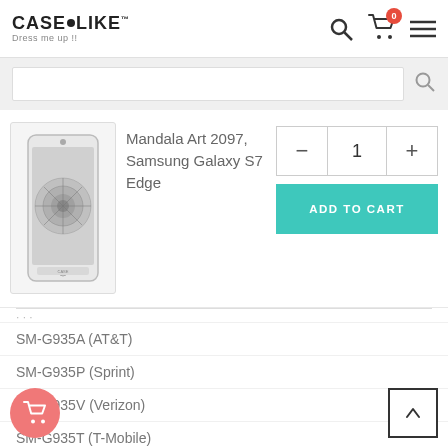CASEiLIKE™ Dress me up !!
[Figure (screenshot): Search bar area with search icon on right]
[Figure (photo): Mandala Art 2097 Samsung Galaxy S7 Edge phone case product image]
Mandala Art 2097, Samsung Galaxy S7 Edge
- 1 +
ADD TO CART
SM-G935A (AT&T)
SM-G935P (Sprint)
SM-G935V (Verizon)
SM-G935T (T-Mobile)
SM-G935R (US Cellular)
SM-G935FD (Southeast Asia)